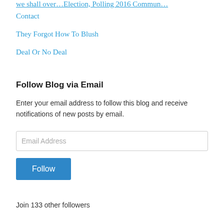Contact
They Forgot How To Blush
Deal Or No Deal
Follow Blog via Email
Enter your email address to follow this blog and receive notifications of new posts by email.
Email Address
Follow
Join 133 other followers